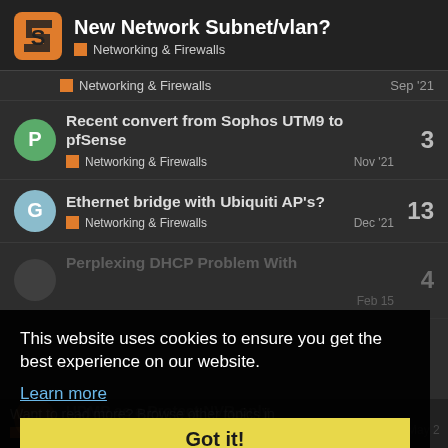New Network Subnet/vlan? — Networking & Firewalls
Networking & Firewalls — Sep '21
Recent convert from Sophos UTM9 to pfSense — Networking & Firewalls — Nov '21 — 3
Ethernet bridge with Ubiquiti AP's? — Networking & Firewalls — Dec '21 — 13
Perplexing DHCP Problem With — 4 — Feb 15
UDMP as a Protect NVR only — Networking & Firewalls — May 2 — 3
This website uses cookies to ensure you get the best experience on our website. Learn more Got it!
Want to read more? Browse other topics in Networking & Fire... or view latest topics.